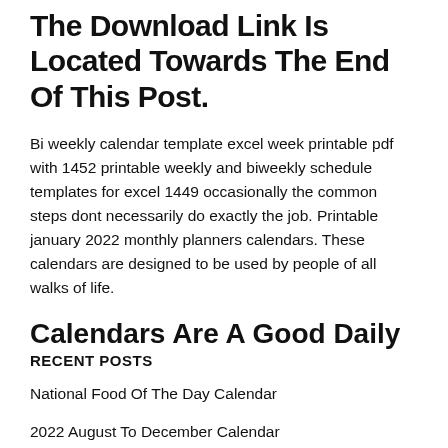The Download Link Is Located Towards The End Of This Post.
Bi weekly calendar template excel week printable pdf with 1452 printable weekly and biweekly schedule templates for excel 1449 occasionally the common steps dont necessarily do exactly the job. Printable january 2022 monthly planners calendars. These calendars are designed to be used by people of all walks of life.
Calendars Are A Good Daily
RECENT POSTS
National Food Of The Day Calendar
2022 August To December Calendar
November 2022 Moon Phase Calendar